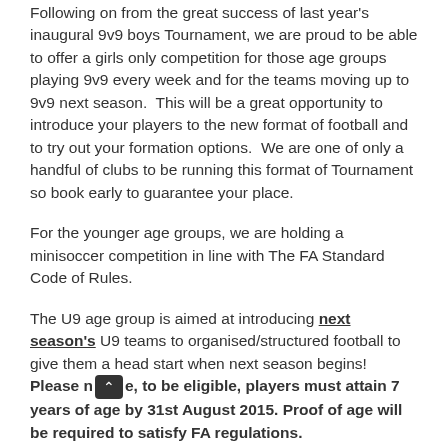Following on from the great success of last year's inaugural 9v9 boys Tournament, we are proud to be able to offer a girls only competition for those age groups playing 9v9 every week and for the teams moving up to 9v9 next season.  This will be a great opportunity to introduce your players to the new format of football and to try out your formation options.  We are one of only a handful of clubs to be running this format of Tournament so book early to guarantee your place.
For the younger age groups, we are holding a minisoccer competition in line with The FA Standard Code of Rules.
The U9 age group is aimed at introducing next season's U9 teams to organised/structured football to give them a head start when next season begins! Please note, to be eligible, players must attain 7 years of age by 31st August 2015. Proof of age will be required to satisfy FA regulations.